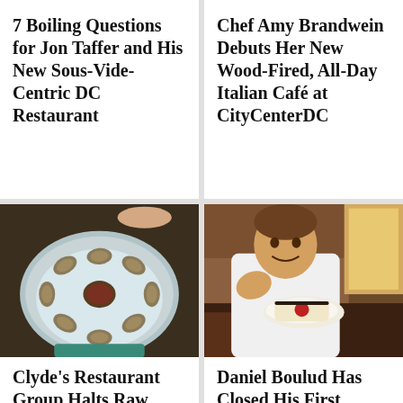7 Boiling Questions for Jon Taffer and His New Sous-Vide-Centric DC Restaurant
Chef Amy Brandwein Debuts Her New Wood-Fired, All-Day Italian Café at CityCenterDC
[Figure (photo): A plate of raw oysters on ice with a dipping sauce in the center, held by a person wearing a teal/turquoise apron]
Clyde's Restaurant Group Halts Raw
[Figure (photo): A smiling chef in a white coat holding a white plate with a rolled cake dessert featuring a red center, seated in a restaurant booth]
Daniel Boulud Has Closed His First